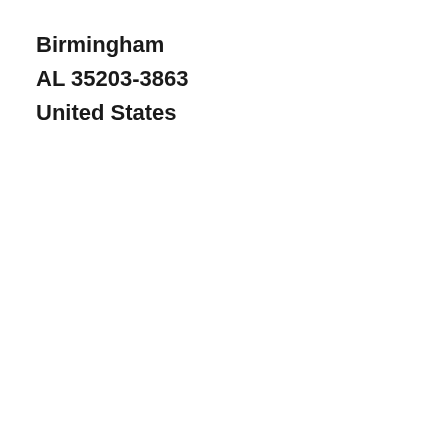Birmingham
AL 35203-3863
United States